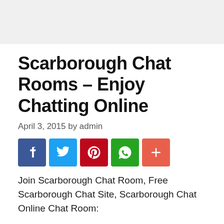Scarborough Chat Rooms – Enjoy Chatting Online
April 3, 2015 by admin
[Figure (infographic): Row of five social sharing icon buttons: Facebook (blue), Twitter (light blue), Pinterest (red), WhatsApp (green), More/Plus (orange-red)]
Join Scarborough Chat Room, Free Scarborough Chat Site, Scarborough Chat Online Chat Room:
Onlinechatus.org.in – Join Scarborough Online Chat and Guest Rooms to enjoy the best Scarborough Chat rooms and chatting sites